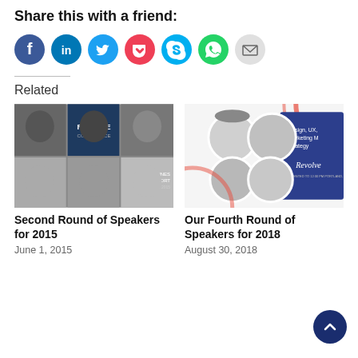Share this with a friend:
[Figure (infographic): Row of social share icon buttons: Facebook (blue), LinkedIn (blue), Twitter (light blue), Pocket (red), Skype (cyan), WhatsApp (green), Email (grey)]
Related
[Figure (photo): Conference speakers collage image for 'Revolve Conference' with 6 black and white headshots arranged in a grid]
Second Round of Speakers for 2015
June 1, 2015
[Figure (photo): Conference speakers collage image for 'Revolve' with colorful circular headshots on a blue/red background with text Design, UX, Marketing, Strategy]
Our Fourth Round of Speakers for 2018
August 30, 2018